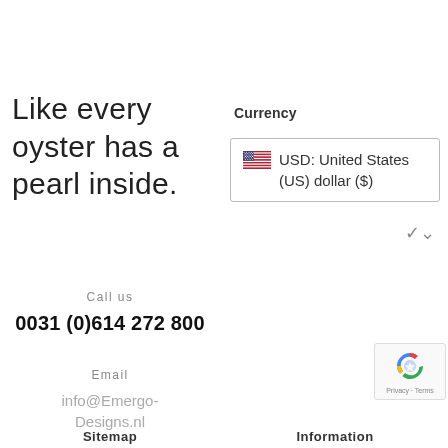Like every oyster has a pearl inside.
Currency
USD: United States (US) dollar ($)
Call us
0031 (0)614 272 800
Email
info@Emergo-Designs.nl
Sitemap
Information